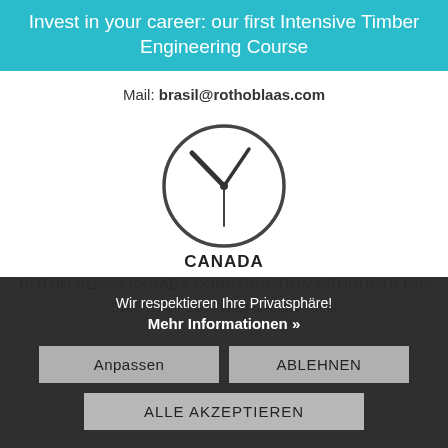Invest in your career: our first Intensive Timber Engineering Course
Mail: brasil@rothoblaas.com
[Figure (illustration): A clock icon showing approximately 10:10 time, drawn as a circle with hour and minute hands.]
CANADA
ROTHO BLAAS CANADA CONSTRUCTION PRODUCTS INC
Suite 1200 – 1075 West Georgia Street
Wir respektieren Ihre Privatsphäre!
Mehr Informationen »
Anpassen
ABLEHNEN
ALLE AKZEPTIEREN